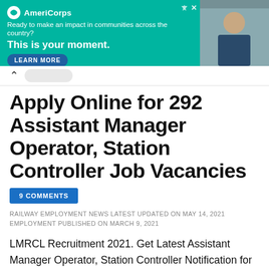[Figure (photo): AmeriCorps advertisement banner with teal background, logo, tagline 'Ready to make an impact in communities across the country? This is your moment.', a LEARN MORE button, and a photo of people on the right side, with close/skip ad controls.]
Apply Online for 292 Assistant Manager Operator, Station Controller Job Vacancies
9 COMMENTS
RAILWAY EMPLOYMENT NEWS LATEST UPDATED ON MAY 14, 2021 EMPLOYMENT PUBLISHED ON MARCH 9, 2021
LMRCL Recruitment 2021. Get Latest Assistant Manager Operator, Station Controller Notification for LMRCL Lucknow Career Vacancies 2021. Find Upcoming Jobs in LMRCL Recruitment 2021. Find Employment Job Alert for Station Controller, Manager...